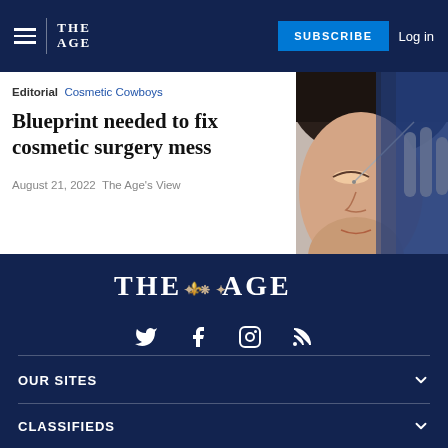THE AGE — SUBSCRIBE  Log in
Editorial  Cosmetic Cowboys
Blueprint needed to fix cosmetic surgery mess
August 21, 2022  The Age's View
[Figure (photo): Photo of a person lying down receiving a cosmetic or medical procedure near the face, administered by gloved hands.]
[Figure (logo): The Age newspaper logo with ornate crest, displayed in white on dark navy background in the footer.]
Social media icons: Twitter, Facebook, Instagram, RSS
OUR SITES
CLASSIFIEDS